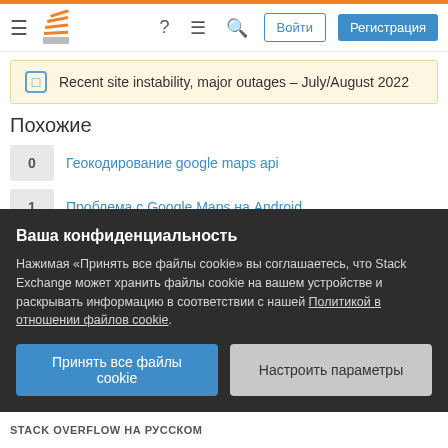Stack Overflow navigation bar with logo, icons, Войти and Регистрация buttons
Recent site instability, major outages – July/August 2022
Похожие
0  Геокодирование google maps api
1  Проблема с Google Maps на Android
1  Google Maps API error: MissingKeyMapError
4  Как получить ближайшие города использую google maps
Ваша конфиденциальность
Нажимая «Принять все файлы cookie» вы соглашаетесь, что Stack Exchange может хранить файлы cookie на вашем устройстве и раскрывать информацию в соответствии с нашей Политикой в отношении файлов cookie.
Принять все файлы cookie  Настроить параметры
STACK OVERFLOW НА РУССКОМ